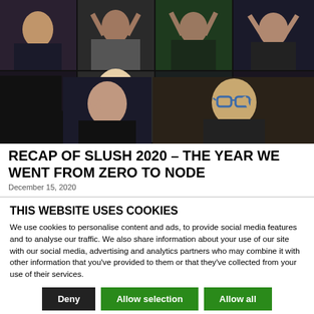[Figure (photo): Video call screenshot showing a grid of people celebrating, some raising hands or making peace signs, on a dark background.]
RECAP OF SLUSH 2020 – THE YEAR WE WENT FROM ZERO TO NODE
December 15, 2020
THIS WEBSITE USES COOKIES
We use cookies to personalise content and ads, to provide social media features and to analyse our traffic. We also share information about your use of our site with our social media, advertising and analytics partners who may combine it with other information that you've provided to them or that they've collected from your use of their services.
Deny | Allow selection | Allow all
Necessary  Preferences  Statistics  Marketing  Show details